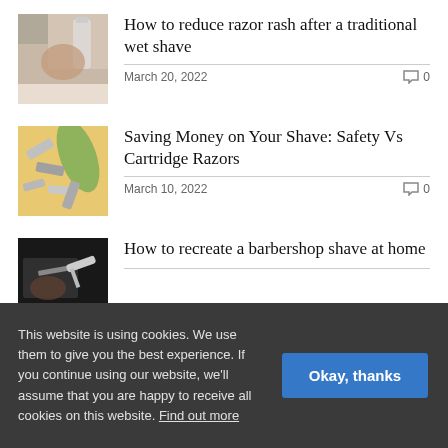[Figure (photo): Man shaving with a traditional razor, close-up photo]
How to reduce razor rash after a traditional wet shave
March 20, 2022   0
[Figure (photo): Safety razors and razor blades on an orange background with a palm leaf]
Saving Money on Your Shave: Safety Vs Cartridge Razors
March 10, 2022   0
[Figure (photo): Barber shaving a client with a straight razor, dark-toned photo]
How to recreate a barbershop shave at home
This website is using cookies. We use them to give you the best experience. If you continue using our website, we'll assume that you are happy to receive all cookies on this website. Find out more